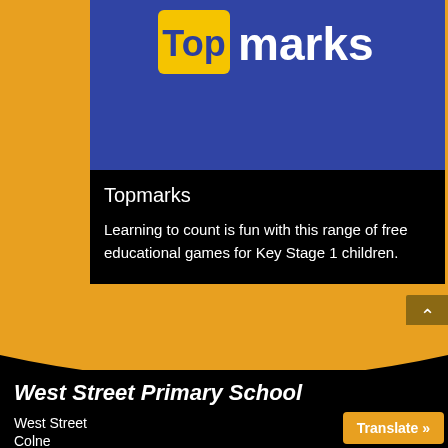[Figure (logo): Topmarks logo - blue rectangle background with yellow square containing 'Top' in blue text and white 'marks' text]
Topmarks
Learning to count is fun with this range of free educational games for Key Stage 1 children.
West Street Primary School
West Street
Colne
Translate »